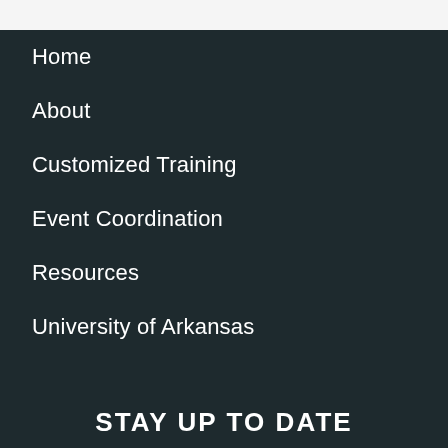Home
About
Customized Training
Event Coordination
Resources
University of Arkansas
STAY UP TO DATE